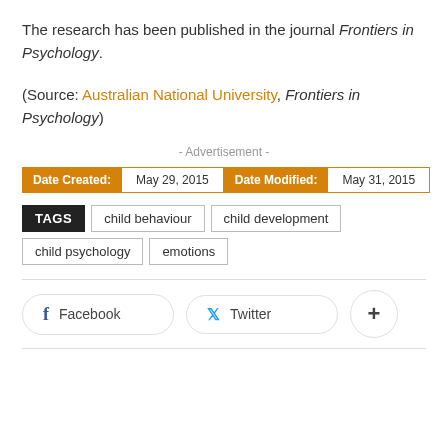The research has been published in the journal Frontiers in Psychology.
(Source: Australian National University, Frontiers in Psychology)
- Advertisement -
Date Created: May 29, 2015   Date Modified: May 31, 2015
TAGS  child behaviour  child development  child psychology  emotions
Facebook  Twitter  +